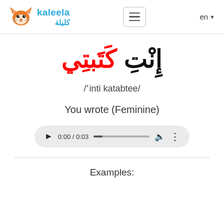kaleela / كليلة — en
إِنْتِ كَتَبتِي
/'inti katabtee/
You wrote (Feminine)
[Figure (other): Audio player showing 0:00 / 0:03 with play button, progress bar, volume icon, and more options icon]
Examples: